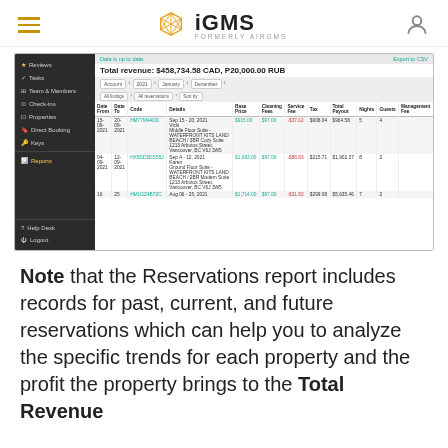iGMS - FORMERLY AIRGMS
[Figure (screenshot): iGMS application screenshot showing the Reservations report page with a sidebar navigation menu and a data table. Total revenue shown as $458,734.58 CAD, P20,000.00 RUB. Table columns: Date From, Date To, Code, Details, Base Price, Cleaning Fees, Service Fee, Tax, Total Payout, Nights, Guests, Management Fee. Three rows of reservation data visible.]
Note that the Reservations report includes records for past, current, and future reservations which can help you to analyze the specific trends for each property and the profit the property brings to the Total Revenue